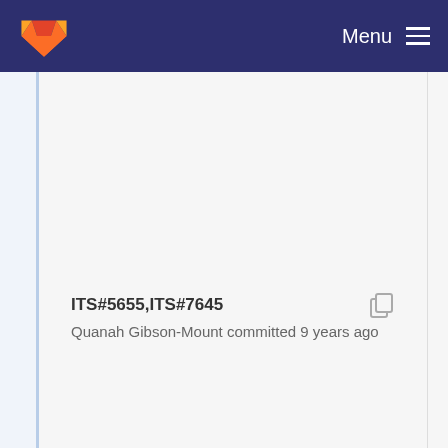[Figure (logo): GitLab fox logo in orange and red on dark navy navigation bar with Menu text and hamburger icon]
ITS#5655,ITS#7645
Quanah Gibson-Mount committed 9 years ago